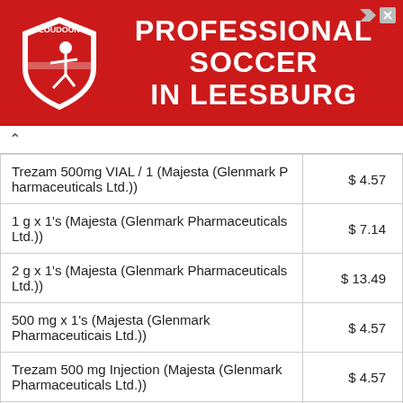[Figure (other): Red advertisement banner for Loudoun Soccer - Professional Soccer in Leesburg]
| Product | Price |
| --- | --- |
| Trezam 500mg VIAL / 1 (Majesta (Glenmark Pharmaceuticals Ltd.)) | $ 4.57 |
| 1 g x 1's (Majesta (Glenmark Pharmaceuticals Ltd.)) | $ 7.14 |
| 2 g x 1's (Majesta (Glenmark Pharmaceuticals Ltd.)) | $ 13.49 |
| 500 mg x 1's (Majesta (Glenmark Pharmaceuticals Ltd.)) | $ 4.57 |
| Trezam 500 mg Injection (Majesta (Glenmark Pharmaceuticals Ltd.)) | $ 4.57 |
| Trezam 1000 mg Injection (Majesta (Glenmark Pharmaceuticals Ltd.)) | $ 7.14 |
| Trezam 2000 mg Injection (Majesta (Glenmark Pharmaceuticals Ltd.)) | $ 13.49 |